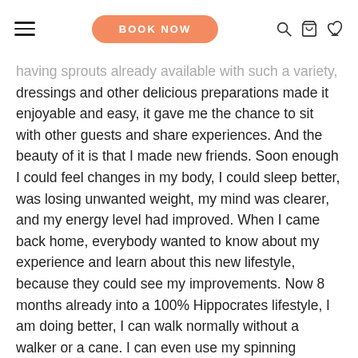BOOK NOW
having sprouts already available with such a variety, dressings and other delicious preparations made it enjoyable and easy, it gave me the chance to sit with other guests and share experiences. And the beauty of it is that I made new friends. Soon enough I could feel changes in my body, I could sleep better, was losing unwanted weight, my mind was clearer, and my energy level had improved. When I came back home, everybody wanted to know about my experience and learn about this new lifestyle, because they could see my improvements. Now 8 months already into a 100% Hippocrates lifestyle, I am doing better, I can walk normally without a walker or a cane. I can even use my spinning bicycle.